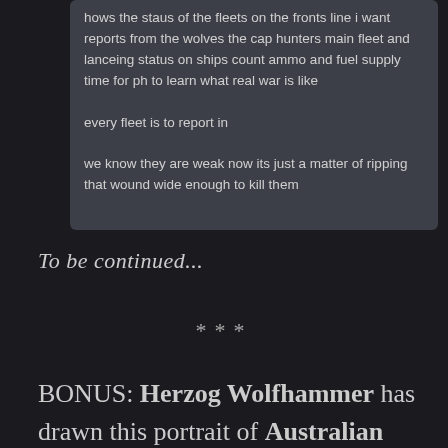[Figure (screenshot): Chat message box with dark grey background showing in-game or message text about fleet status reports, wolves, cap hunters, ships, ammo and fuel supply]
hows the staus of the fleets on the fronts line i want reports from the wolves the cap hunters main fleet and lanceing status on ships count ammo and fuel supply time for ph to learn what real war is like

every fleet is to report in

we know they are weak now its just a matter of ripping that wound wide enough to kill them
To be continued...
***
BONUS: Herzog Wolfhammer has drawn this portrait of Australian Excellence,